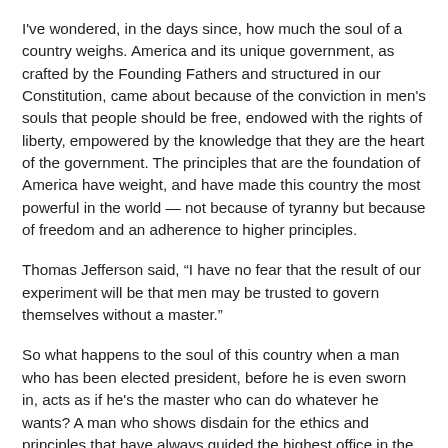I've wondered, in the days since, how much the soul of a country weighs. America and its unique government, as crafted by the Founding Fathers and structured in our Constitution, came about because of the conviction in men's souls that people should be free, endowed with the rights of liberty, empowered by the knowledge that they are the heart of the government. The principles that are the foundation of America have weight, and have made this country the most powerful in the world — not because of tyranny but because of freedom and an adherence to higher principles.
Thomas Jefferson said, “I have no fear that the result of our experiment will be that men may be trusted to govern themselves without a master.”
So what happens to the soul of this country when a man who has been elected president, before he is even sworn in, acts as if he's the master who can do whatever he wants? A man who shows disdain for the ethics and principles that have always guided the highest office in the land. A man who has refused to release his tax returns, refused to put his wealth into a blind trust, refused to honor the ethical obligation to make sure there is no actual or perceived conflict of interest on any front. A man who has flippantly said, It isn't the law so there's nothing you can do to make me comply. A man who has shown no respect for the fact that he isn't actually